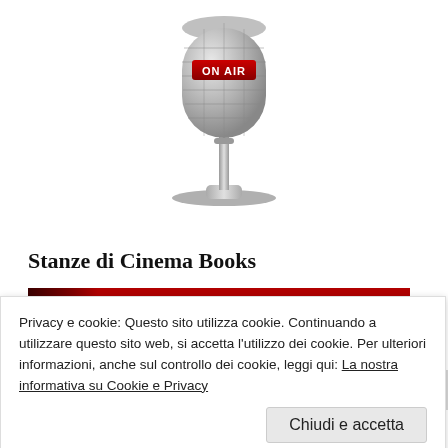[Figure (illustration): Vintage silver broadcast microphone with 'ON AIR' red badge on a stand, centered at top of page]
Stanze di Cinema Books
[Figure (illustration): Book cover with dark red background showing 'BONG JOON-HO' in large yellow text, with a dark silhouette on the left]
Privacy e cookie: Questo sito utilizza cookie. Continuando a utilizzare questo sito web, si accetta l'utilizzo dei cookie. Per ulteriori informazioni, anche sul controllo dei cookie, leggi qui: La nostra informativa su Cookie e Privacy
Chiudi e accetta